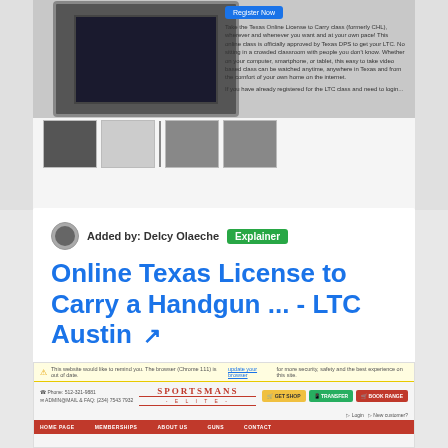[Figure (screenshot): Top portion of a webpage screenshot showing a laptop image and text about Texas Online License to Carry class with a Register Now button and thumbnail images below.]
Added by: Delcy Olaeche  Explainer
Online Texas License to Carry a Handgun ... - LTC Austin ↗
https://ltcaustin.com/product/online-texas-license-to-carry-a-handgun-...
Take the Texas Online License to Carry class (formerly CHL), wherever and ... If you have already registered for the LTC class and need to login, click here.
| Global Rank | Pageviews | Top Country | Site Staus |
| --- | --- | --- | --- |
| 3M+ | 142 | N/A | Up |
[Figure (screenshot): Bottom portion of a webpage screenshot showing a Sportsmans Elite website with yellow warning bar, navigation buttons (GET SHOP, TRANSFER, BOOK RANGE), login links, and a red navigation bar with HOME PAGE, MEMBERSHIPS, ABOUT US, GUNS, CONTACT.]